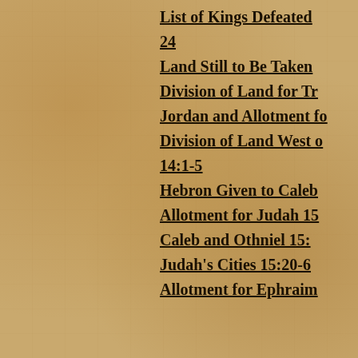List of Kings Defeated
24
Land Still to Be Taken
Division of Land for Tr
Jordan and Allotment fo
Division of Land West o
14:1-5
Hebron Given to Caleb
Allotment for Judah  15
Caleb and Othniel  15:
Judah's Cities   15:20-6
Allotment for Ephraim